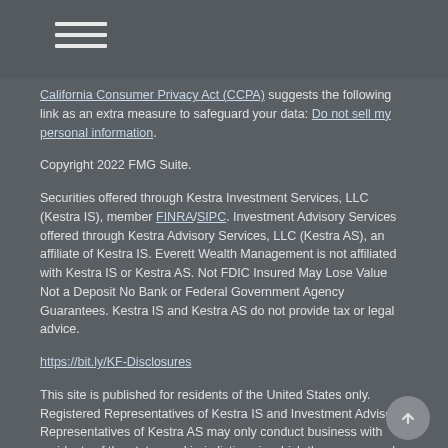California Consumer Privacy Act (CCPA) suggests the following link as an extra measure to safeguard your data: Do not sell my personal information.
Copyright 2022 FMG Suite.
Securities offered through Kestra Investment Services, LLC (Kestra IS), member FINRA/SIPC. Investment Advisory Services offered through Kestra Advisory Services, LLC (Kestra AS), an affiliate of Kestra IS. Everett Wealth Management is not affiliated with Kestra IS or Kestra AS. Not FDIC Insured May Lose Value Not a Deposit No Bank or Federal Government Agency Guarantees. Kestra IS and Kestra AS do not provide tax or legal advice.
https://bit.ly/KF-Disclosures
This site is published for residents of the United States only. Registered Representatives of Kestra IS and Investment Advisor Representatives of Kestra AS may only conduct business with residents of the states and jurisdictions in which they are properly registered. Therefore, a response to a request for information may be delayed. Not all products and services referenced on this site are available in every state and through every representative or advisor listed. For additional information, please contact our Compliance department at 844-5-KESTRA (844-553-7872).
Any web site links referenced are being provided strictly as a courtesy. Neither us,